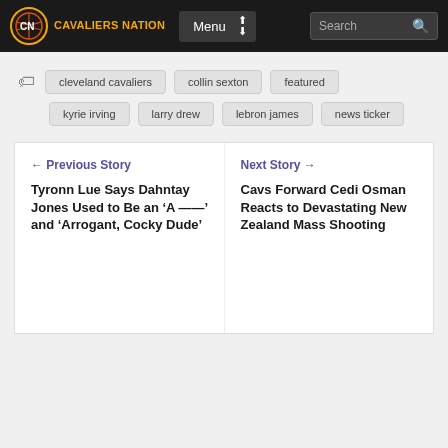Cavaliers Nation | Menu | Search
cleveland cavaliers
collin sexton
featured
kyrie irving
larry drew
lebron james
news ticker
← Previous Story
Tyronn Lue Says Dahntay Jones Used to Be an ‘A ——’ and ‘Arrogant, Cocky Dude’
Next Story →
Cavs Forward Cedi Osman Reacts to Devastating New Zealand Mass Shooting